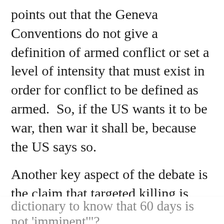points out that the Geneva Conventions do not give a definition of armed conflict or set a level of intensity that must exist in order for conflict to be defined as armed.  So, if the US wants it to be war, then war it shall be, because the US says so.
Another key aspect of the debate is the claim that targeted killing is justifiable as a means of self-defense, that the US and the UK have the right to target individuals who pose an imminent threat. But documents leaked to the Intercept, described in The Drone Papers give much more detail to the
Privacy & Cookies: This site uses cookies. By continuing to use this website, you agree to their use.
To find out more, including how to control cookies, see here: Cookie Policy
Close and accept
dictionary to know that 60 days is not 'imminent'"?